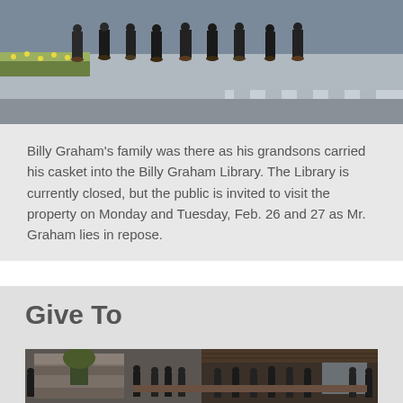[Figure (photo): Outdoor scene showing people in formal attire walking on a sidewalk with flower beds and a street visible, partially cropped at the top.]
Billy Graham’s family was there as his grandsons carried his casket into the Billy Graham Library. The Library is currently closed, but the public is invited to visit the property on Monday and Tuesday, Feb. 26 and 27 as Mr. Graham lies in repose.
Give To
[Figure (photo): Indoor gathering scene showing a group of people in formal attire inside a building with stone fireplace and wood-paneled ceiling.]